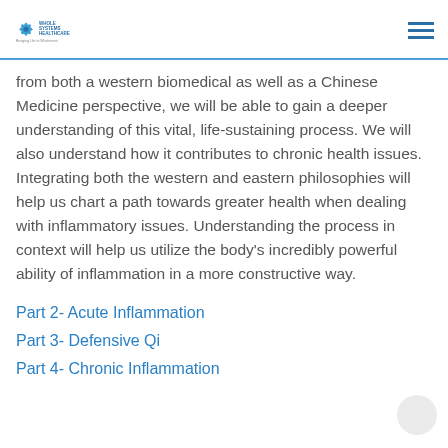Whole Systems Healthcare – Bringing Life to Wholeness
from both a western biomedical as well as a Chinese Medicine perspective, we will be able to gain a deeper understanding of this vital, life-sustaining process. We will also understand how it contributes to chronic health issues. Integrating both the western and eastern philosophies will help us chart a path towards greater health when dealing with inflammatory issues. Understanding the process in context will help us utilize the body's incredibly powerful ability of inflammation in a more constructive way.
Part 2- Acute Inflammation
Part 3- Defensive Qi
Part 4- Chronic Inflammation